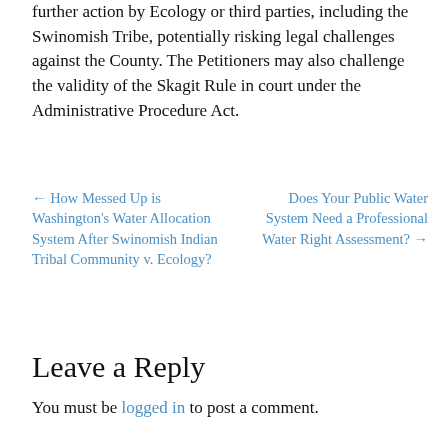further action by Ecology or third parties, including the Swinomish Tribe, potentially risking legal challenges against the County. The Petitioners may also challenge the validity of the Skagit Rule in court under the Administrative Procedure Act.
← How Messed Up is Washington's Water Allocation System After Swinomish Indian Tribal Community v. Ecology?
Does Your Public Water System Need a Professional Water Right Assessment? →
Leave a Reply
You must be logged in to post a comment.